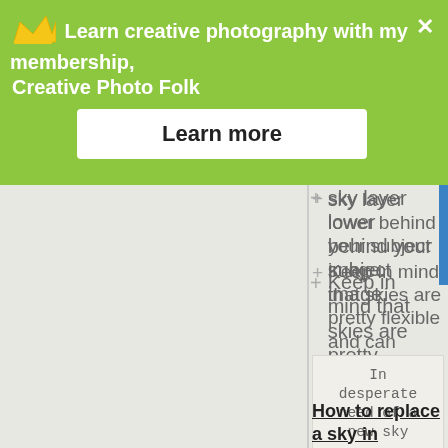[Figure (screenshot): Green promotional banner with crown icon, text 'Learn creative photography with my membership, Creative Photo Folk', a white 'Learn more' button, and a close X button]
sky layer lower behind your subject image.
Keep in mind that skies are pretty flexible and can usually be stretched and resized a fair bit before they start to look weird.
In desperate need of a new sky
How to replace a sky in Photoshop
Reduce opacity of sky layer to see where to move it to